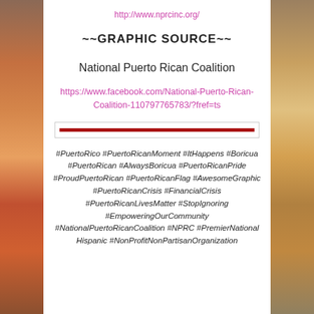http://www.nprcinc.org/
~~GRAPHIC SOURCE~~
National Puerto Rican Coalition
https://www.facebook.com/National-Puerto-Rican-Coalition-110797765783/?fref=ts
[Figure (other): Dark red horizontal divider line inside a light bordered rectangle]
#PuertoRico #PuertoRicanMoment #ItHappens #Boricua #PuertoRican #AlwaysBoricua #PuertoRicanPride #ProudPuertoRican #PuertoRicanFlag #AwesomeGraphic #PuertoRicanCrisis #FinancialCrisis #PuertoRicanLivesMatter #StopIgnoring #EmpoweringOurCommunity #NationalPuertoRicanCoalition #NPRC #PremierNational Hispanic #NonProfitNonPartisanOrganization